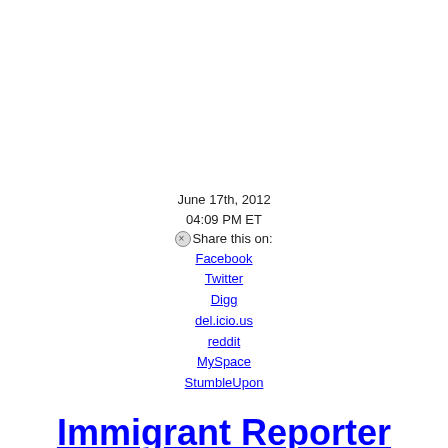June 17th, 2012
04:09 PM ET
⊗Share this on:
Facebook
Twitter
Digg
del.icio.us
reddit
MySpace
StumbleUpon
Immigrant Reporter Leading Charge